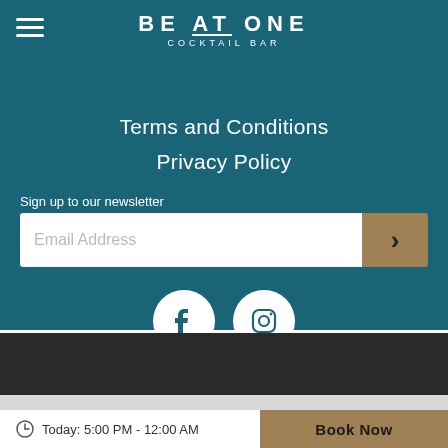BE AT ONE COCKTAIL BAR
Terms and Conditions
Privacy Policy
Sign up to our newsletter
[Figure (infographic): Email address input field with submit arrow button]
[Figure (infographic): Facebook and Instagram social media icons as white circles on teal background]
[Figure (infographic): Dark section with partially visible 'Stangate Green' text]
Today: 5:00 PM - 12:00 AM
Book Now